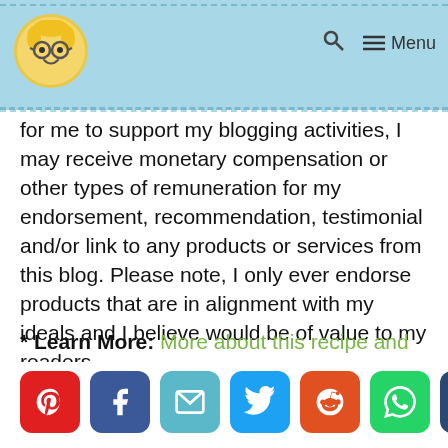Menu
for me to support my blogging activities, I may receive monetary compensation or other types of remuneration for my endorsement, recommendation, testimonial and/or link to any products or services from this blog. Please note, I only ever endorse products that are in alignment with my ideals and I believe would be of value to my readers.
* Learn More: More about this recipe and nutrition ...
[Figure (infographic): Row of social media share buttons: Pinterest (red), Facebook (dark blue), Email (teal), Twitter (light blue), Reddit (orange-red), WhatsApp (green), Tumblr (dark blue), scroll-up button (grey)]